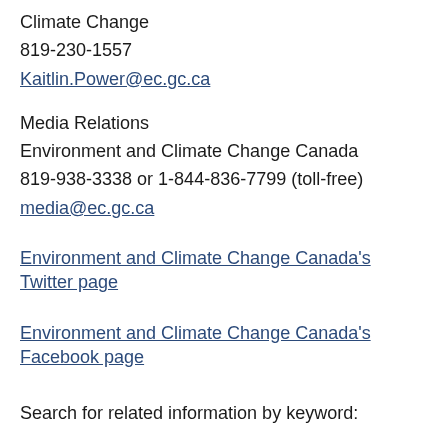Climate Change
819-230-1557
Kaitlin.Power@ec.gc.ca
Media Relations
Environment and Climate Change Canada
819-938-3338 or 1-844-836-7799 (toll-free)
media@ec.gc.ca
Environment and Climate Change Canada's Twitter page
Environment and Climate Change Canada's Facebook page
Search for related information by keyword: